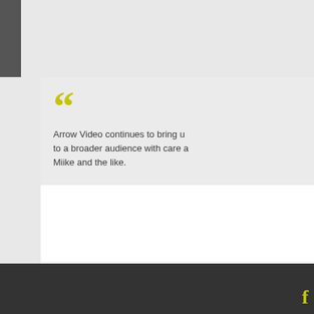Arrow Video continues to bring u... to a broader audience with care a... Miike and the like.
Arrow Video has also created a s... definition release, including an im... supplements. On the quality of th... recommendation.